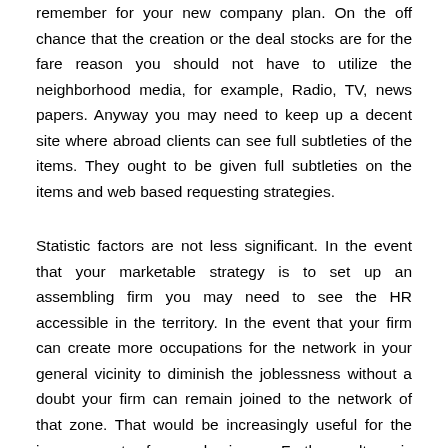remember for your new company plan. On the off chance that the creation or the deal stocks are for the fare reason you should not have to utilize the neighborhood media, for example, Radio, TV, news papers. Anyway you may need to keep up a decent site where abroad clients can see full subtleties of the items. They ought to be given full subtleties on the items and web based requesting strategies.
Statistic factors are not less significant. In the event that your marketable strategy is to set up an assembling firm you may need to see the HR accessible in the territory. In the event that your firm can create more occupations for the network in your general vicinity to diminish the joblessness without a doubt your firm can remain joined to the network of that zone. That would be increasingly useful for the improvement of your business. Further culture is another significant factor. Most likely it would not be reasonable if your business harms the social and strict sentiment of most of the region. Be cautious